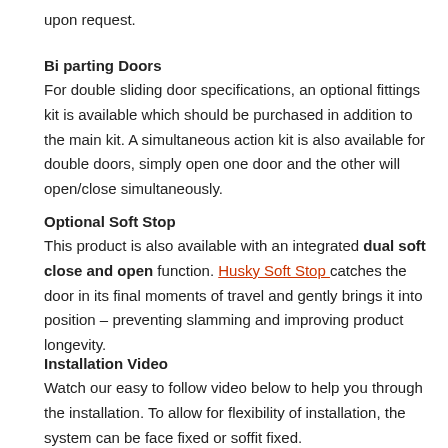upon request.
Bi parting Doors
For double sliding door specifications, an optional fittings kit is available which should be purchased in addition to the main kit. A simultaneous action kit is also available for double doors, simply open one door and the other will open/close simultaneously.
Optional Soft Stop
This product is also available with an integrated dual soft close and open function. Husky Soft Stop catches the door in its final moments of travel and gently brings it into position – preventing slamming and improving product longevity.
Installation Video
Watch our easy to follow video below to help you through the installation. To allow for flexibility of installation, the system can be face fixed or soffit fixed.